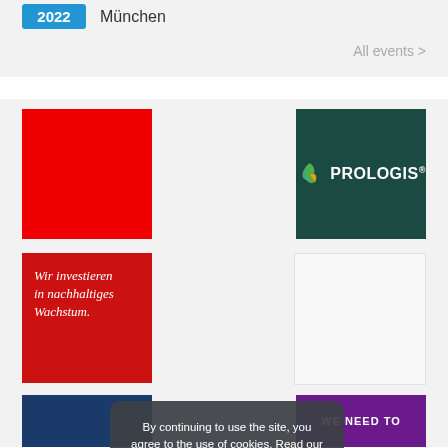2022  München
All events >
[Figure (illustration): Red square card (sponsor/exhibitor placeholder)]
[Figure (logo): Prologis logo on dark teal background]
[Figure (illustration): Red card with italic text: Wir investieren in nachhaltiges Wachstum.]
[Figure (illustration): Light grey placeholder card]
By continuing to use the site, you agree to the use of cookies. Read our cookie policy  CONTINUE
[Figure (photo): Blue/dark photo card (partially visible at bottom)]
[Figure (illustration): Purple card with text WE NEED TO (partially visible)]